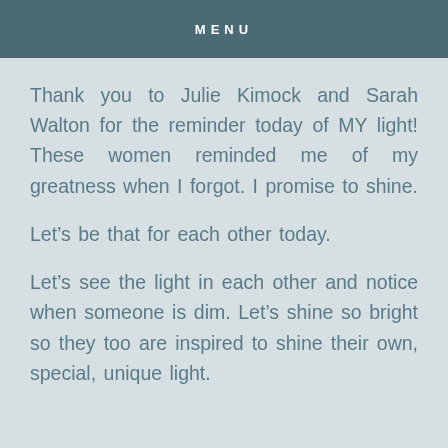MENU
Thank you to Julie Kimock and Sarah Walton for the reminder today of MY light! These women reminded me of my greatness when I forgot. I promise to shine.
Let’s be that for each other today.
Let’s see the light in each other and notice when someone is dim. Let’s shine so bright so they too are inspired to shine their own, special, unique light.